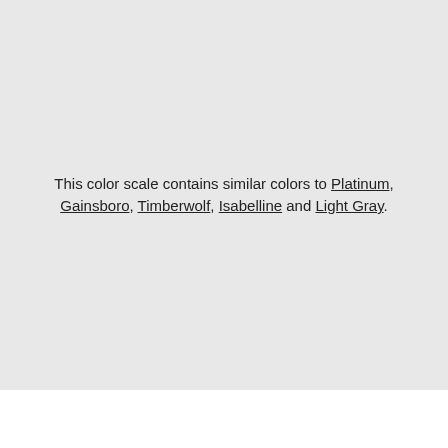This color scale contains similar colors to Platinum, Gainsboro, Timberwolf, Isabelline and Light Gray.